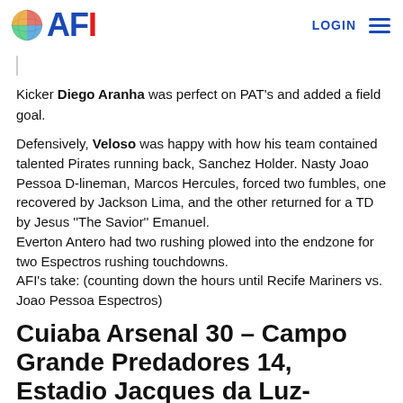AFI | LOGIN
Kicker Diego Aranha was perfect on PAT's and added a field goal.
Defensively, Veloso was happy with how his team contained talented Pirates running back, Sanchez Holder. Nasty Joao Pessoa D-lineman, Marcos Hercules, forced two fumbles, one recovered by Jackson Lima, and the other returned for a TD by Jesus "The Savior" Emanuel.
Everton Antero had two rushing plowed into the endzone for two Espectros rushing touchdowns.
AFI's take: (counting down the hours until Recife Mariners vs. Joao Pessoa Espectros)
Cuiaba Arsenal 30 – Campo Grande Predadores 14, Estadio Jacques da Luz- Campo Grande, Mato Grosso